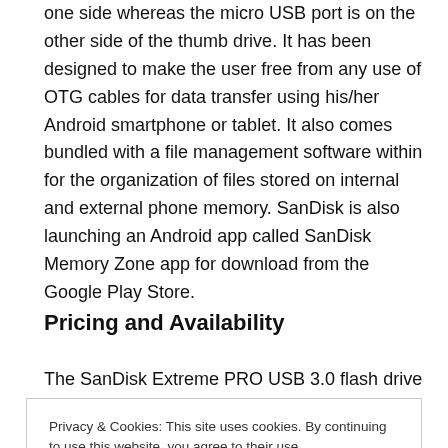one side whereas the micro USB port is on the other side of the thumb drive. It has been designed to make the user free from any use of OTG cables for data transfer using his/her Android smartphone or tablet. It also comes bundled with a file management software within for the organization of files stored on internal and external phone memory. SanDisk is also launching an Android app called SanDisk Memory Zone app for download from the Google Play Store.
Pricing and Availability
The SanDisk Extreme PRO USB 3.0 flash drive is available
Privacy & Cookies: This site uses cookies. By continuing to use this website, you agree to their use.
To find out more, including how to control cookies, see here: Cookie Policy
Close and accept